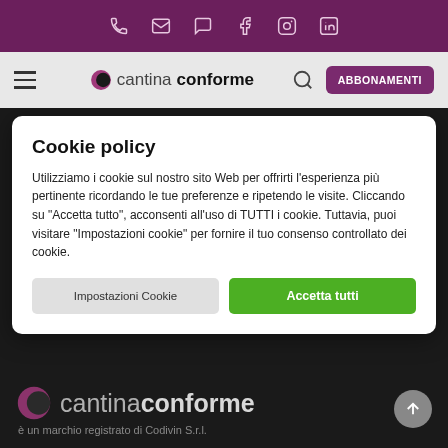Top navigation bar with phone, email, chat, Facebook, Instagram, LinkedIn icons
[Figure (screenshot): Navigation bar with hamburger menu, cantinaconforme logo, search icon, and ABBONAMENTI button]
Cookie policy
Utilizziamo i cookie sul nostro sito Web per offrirti l'esperienza più pertinente ricordando le tue preferenze e ripetendo le visite. Cliccando su "Accetta tutto", acconsenti all'uso di TUTTI i cookie. Tuttavia, puoi visitare "Impostazioni cookie" per fornire il tuo consenso controllato dei cookie.
Impostazioni Cookie | Accetta tutti
[Figure (logo): cantinaconforme footer logo with half-circle icon]
è un marchio registrato di Codivin S.r.l.